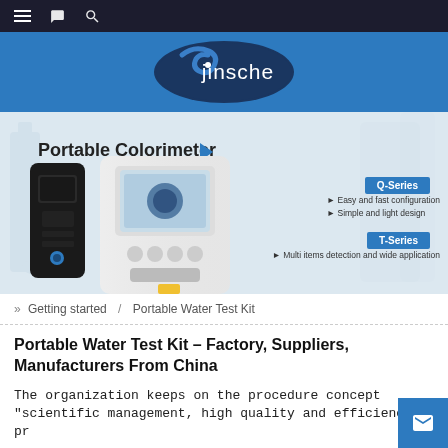Navigation bar with hamburger menu, bookmark icon, and search icon
[Figure (logo): Jinsche company logo: dark blue oval with swirl graphic and white text 'jinsche' on blue banner background]
[Figure (photo): Product banner showing Portable Colorimeter devices - a small black handheld device with vial and a larger white device with screen. Text: 'Portable Colorimeter', Q-Series (Easy and fast configuration, Simple and light design), T-Series (Multi items detection and wide application)]
» Getting started / Portable Water Test Kit
Portable Water Test Kit – Factory, Suppliers, Manufacturers From China
The organization keeps on the procedure concept "scientific management, high quality and efficiency pr